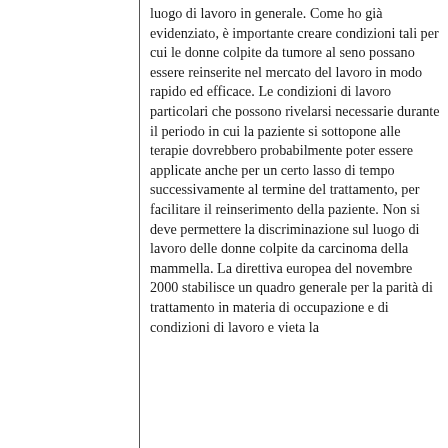luogo di lavoro in generale. Come ho già evidenziato, è importante creare condizioni tali per cui le donne colpite da tumore al seno possano essere reinserite nel mercato del lavoro in modo rapido ed efficace. Le condizioni di lavoro particolari che possono rivelarsi necessarie durante il periodo in cui la paziente si sottopone alle terapie dovrebbero probabilmente poter essere applicate anche per un certo lasso di tempo successivamente al termine del trattamento, per facilitare il reinserimento della paziente. Non si deve permettere la discriminazione sul luogo di lavoro delle donne colpite da carcinoma della mammella. La direttiva europea del novembre 2000 stabilisce un quadro generale per la parità di trattamento in materia di occupazione e di condizioni di lavoro e vieta la